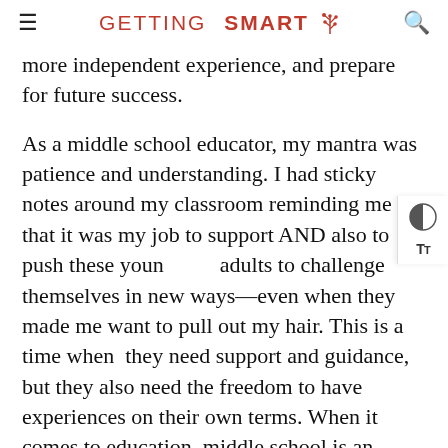GETTING SMART
more independent experience, and prepare for future success.
As a middle school educator, my mantra was patience and understanding. I had sticky notes around my classroom reminding me that it was my job to support AND also to push these young adults to challenge themselves in new ways—even when they made me want to pull out my hair. This is a time when they need support and guidance, but they also need the freedom to have experiences on their own terms. When it comes to education, middle school is an extremely important time.